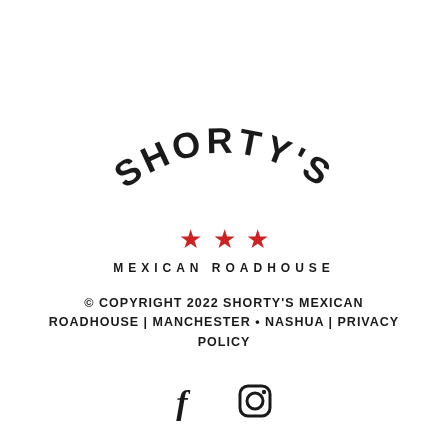[Figure (logo): Shorty's Mexican Roadhouse logo with arched text 'SHORTY'S', three red stars, and subtitle 'MEXICAN ROADHOUSE']
© COPYRIGHT 2022 SHORTY'S MEXICAN ROADHOUSE | MANCHESTER • NASHUA | PRIVACY POLICY
[Figure (other): Social media icons: Facebook (f) and Instagram (camera outline)]